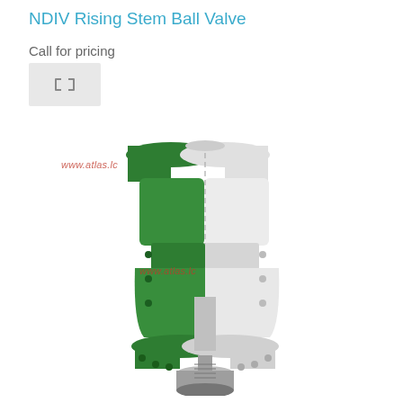NDIV Rising Stem Ball Valve
Call for pricing
[Figure (illustration): Compare/refresh icon button — two arrows forming a square loop, on a light grey background]
[Figure (photo): NDIV Rising Stem Ball Valve product photo showing a large industrial ball valve with green and white halves (cross-section view), flanged ends, and visible internal stem assembly. Watermark text 'www.atlas.lc' appears twice on the image.]